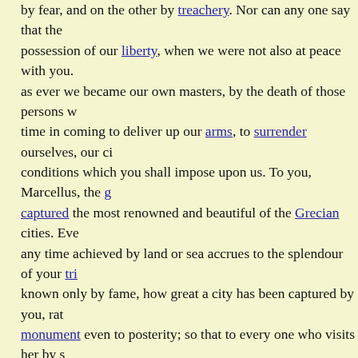by fear, and on the other by treachery. Nor can any one say that their possession of our liberty, when we were not also at peace with you. as ever we became our own masters, by the death of those persons w time in coming to deliver up our arms, to surrender ourselves, our ci conditions which you shall impose upon us. To you, Marcellus, the g captured the most renowned and beautiful of the Grecian cities. Eve any time achieved by land or sea accrues to the splendour of your tri known only by fame, how great a city has been captured by you, rath monument even to posterity; so that to every one who visits her by s our trophies gained from the Athenians and Carthaginians, at anothe us; and that you should transmit Syracuse unimpaired to your family patronage of the race of the Marcelli? Let not the memory of Hieron that of Hiero. The latter was your friend for a much longer period tha latter you have realized even benefits, while the frenzy of Hieronym hands of the Romans all things were obtainable and secure. There w danger to be apprehended among themselves; for the deserters, think Romans, induced the mercenary auxiliaries to entertain the same app they first put the praetors to death, and then ran through the city to m slew all whom chance threw in their way, and plundered every thing should have no leaders, they elected six praetors, so that three might three in the island. At length, the tumult having subsided, and the me inquiry, what had been negotiated with the Romans, it began to appe and that of the deserters were different.
Event: Actions on Sicily in 212 BC